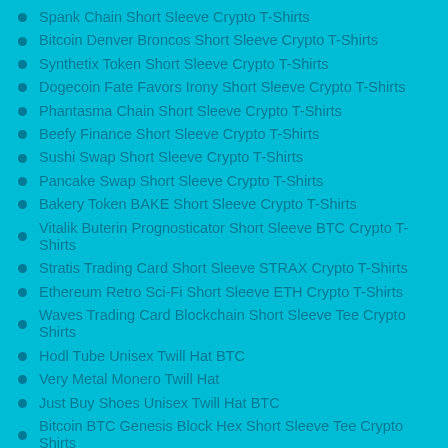Spank Chain Short Sleeve Crypto T-Shirts
Bitcoin Denver Broncos Short Sleeve Crypto T-Shirts
Synthetix Token Short Sleeve Crypto T-Shirts
Dogecoin Fate Favors Irony Short Sleeve Crypto T-Shirts
Phantasma Chain Short Sleeve Crypto T-Shirts
Beefy Finance Short Sleeve Crypto T-Shirts
Sushi Swap Short Sleeve Crypto T-Shirts
Pancake Swap Short Sleeve Crypto T-Shirts
Bakery Token BAKE Short Sleeve Crypto T-Shirts
Vitalik Buterin Prognosticator Short Sleeve BTC Crypto T-Shirts
Stratis Trading Card Short Sleeve STRAX Crypto T-Shirts
Ethereum Retro Sci-Fi Short Sleeve ETH Crypto T-Shirts
Waves Trading Card Blockchain Short Sleeve Tee Crypto Shirts
Hodl Tube Unisex Twill Hat BTC
Very Metal Monero Twill Hat
Just Buy Shoes Unisex Twill Hat BTC
Bitcoin BTC Genesis Block Hex Short Sleeve Tee Crypto Shirts
Just Buy Shoes Don't HODL Unisex Jersey Short Sleeve Tee Crypto